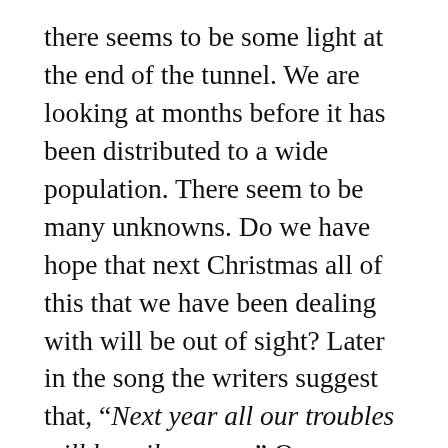there seems to be some light at the end of the tunnel. We are looking at months before it has been distributed to a wide population. There seem to be many unknowns. Do we have hope that next Christmas all of this that we have been dealing with will be out of sight? Later in the song the writers suggest that, “Next year all our troubles will be miles away.” Our children and grandchildren will be hearing about this experience for the rest of their lives. We will re-live the moments when we couldn’t be together, when sick family members were in hospitals alone, and when the empty chairs at the table would remind us that we are now missing loved ones. It is easy to settle into a maudlin perspective that sees no hope. Christ, however, is our greatest hope. Whether it is next year when